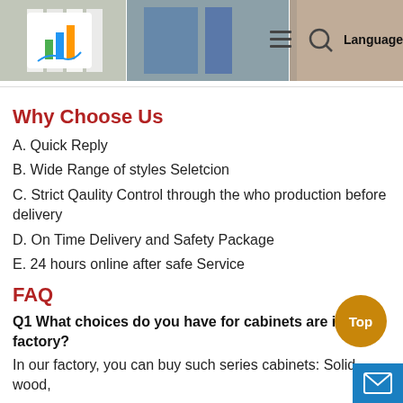[Figure (screenshot): Website header with logo (colorful bar chart icon), product photos of cabinets/panels in background, hamburger menu icon, search icon, and Language button on right]
Why Choose Us
A. Quick Reply
B. Wide Range of styles Seletcion
C. Strict Qaulity Control through the who production before delivery
D. On Time Delivery and Safety Package
E. 24 hours online after safe Service
FAQ
Q1 What choices do you have for cabinets are in your factory?
In our factory, you can buy such series cabinets: Solid wood,